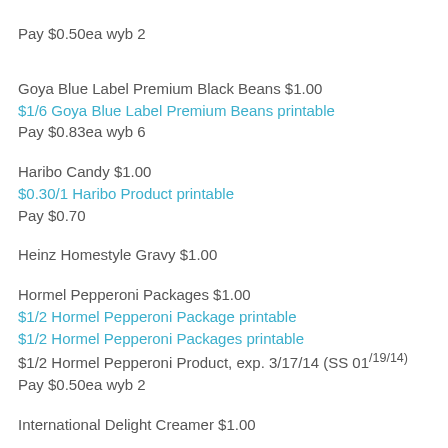Pay $0.50ea wyb 2
Goya Blue Label Premium Black Beans $1.00
$1/6 Goya Blue Label Premium Beans printable
Pay $0.83ea wyb 6
Haribo Candy $1.00
$0.30/1 Haribo Product printable
Pay $0.70
Heinz Homestyle Gravy $1.00
Hormel Pepperoni Packages $1.00
$1/2 Hormel Pepperoni Package printable
$1/2 Hormel Pepperoni Packages printable
$1/2 Hormel Pepperoni Product, exp. 3/17/14 (SS 01/19/14)
Pay $0.50ea wyb 2
International Delight Creamer $1.00